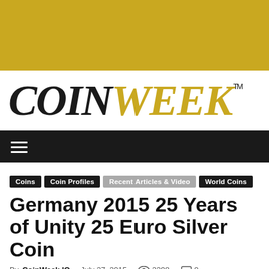[Figure (logo): Gold banner background at top of CoinWeek website]
[Figure (logo): CoinWeek logo — COIN in black serif italic, WEEK in gold serif italic, with TM superscript]
[Figure (screenshot): Black navigation bar with hamburger menu icon (three white horizontal lines)]
Coins · Coin Profiles · Recent Articles & Video · World Coins
Germany 2015 25 Years of Unity 25 Euro Silver Coin
By CoinWeek IO - July 27, 2015   2298   0